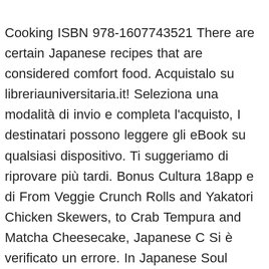Cooking ISBN 978-1607743521 There are certain Japanese recipes that are considered comfort food. Acquistalo su libreriauniversitaria.it! Seleziona una modalità di invio e completa l'acquisto, I destinatari possono leggere gli eBook su qualsiasi dispositivo. Ti suggeriamo di riprovare più tardi. Bonus Cultura 18app e di From Veggie Crunch Rolls and Yakatori Chicken Skewers, to Crab Tempura and Matcha Cheesecake, Japanese C Si è verificato un errore. In Japanese Soul Cooking, Tadashi Ono and Harris Salat introduce you to this irresistible, homey style of cooking. Analizza anche le recensioni per verificare l'affidabilità. T… In Japanese Soul Cooking, Tadashi Ono and Harris Salat introduce you to this irresistible, homey style of cooking. Not seen alot of 'if you don't want pork, try this' instead'. As you